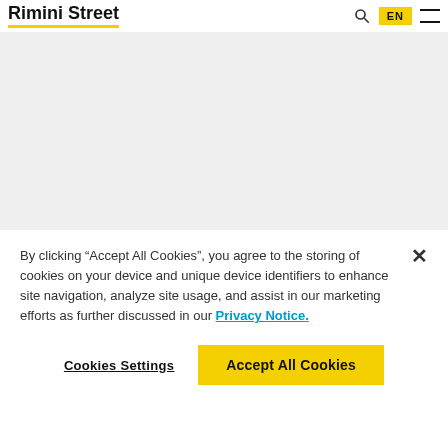Rimini Street
[Figure (screenshot): Gray placeholder area representing a partially loaded page background]
By clicking “Accept All Cookies”, you agree to the storing of cookies on your device and unique device identifiers to enhance site navigation, analyze site usage, and assist in our marketing efforts as further discussed in our Privacy Notice.
Cookies Settings
Accept All Cookies